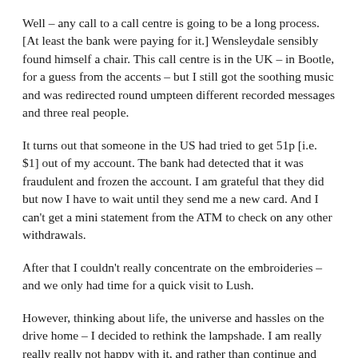Well – any call to a call centre is going to be a long process. [At least the bank were paying for it.] Wensleydale sensibly found himself a chair. This call centre is in the UK – in Bootle, for a guess from the accents – but I still got the soothing music and was redirected round umpteen different recorded messages and three real people.
It turns out that someone in the US had tried to get 51p [i.e. $1] out of my account. The bank had detected that it was fraudulent and frozen the account. I am grateful that they did but now I have to wait until they send me a new card. And I can't get a mini statement from the ATM to check on any other withdrawals.
After that I couldn't really concentrate on the embroideries – and we only had time for a quick visit to Lush.
However, thinking about life, the universe and hassles on the drive home – I decided to rethink the lampshade. I am really really really not happy with it, and rather than continue and wreck a £50 lamp – I have decided that I will ask – no, tell - the teacher on Thursday that I am moving to plan C.